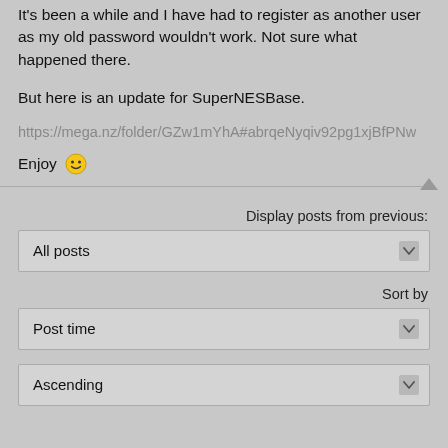It's been a while and I have had to register as another user as my old password wouldn't work. Not sure what happened there.
But here is an update for SuperNESBase.
https://mega.nz/folder/GZw1mYhA#abrqeNyqiv92pg1xjBfPNw
Enjoy 😊
Display posts from previous:
All posts
Sort by
Post time
Ascending